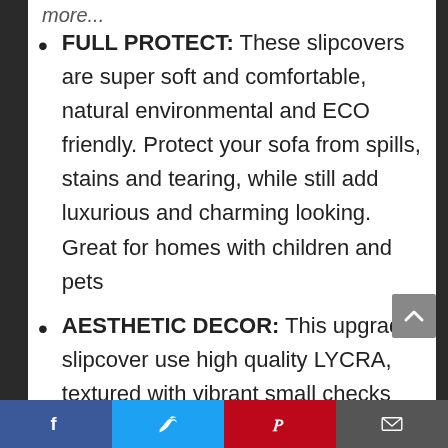FULL PROTECT: These slipcovers are super soft and comfortable, natural environmental and ECO friendly. Protect your sofa from spills, stains and tearing, while still add luxurious and charming looking. Great for homes with children and pets
AESTHETIC DECOR: This upgraded slipcover use high quality LYCRA, textured with vibrant small checks pattern. Save you money by extending the life of your chair sofa, make your old furniture
Facebook | Twitter | Pinterest | Email